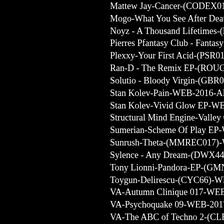Mattew Jay-Cancer-(CODEX013)-WEB-2017-E...
Mogo-What You See After Death-WEB-2017-FU...
Noyz - A Thousand Lifetimes-(NUTTY069)-WE...
Pierres Pfantasy Club - Fantasy Girl (SRO001)-B...
Plexxy-Your First Acid-(PSR0178)-WEB-2017-E...
Ran-D - The Remix EP-(ROUGH076)-WEB-201...
Solutio - Bloody Virgin-(GBR030)-WEB-2017-M...
Stan Kolev-Pain-WEB-2016-AFO
Stan Kolev-Vivid Glow EP-WEB-2016-AFO
Structural Mind Engine-Valley Of Light-WEB-20...
Sumerian-Scheme Of Play EP-WEB-2017-FURY
Sunrush-Theta-(MMREC017)-WEB-2017-ENSL...
Sylence - Any Dream-(DWX446)-WEB-2017-M...
Tony Lionni-Pandora-EP-(GMND022)-WEB-201...
Toygun-Delirescu-(CYC66)-WEB-2017-ENSLA...
VA-Autumn Clinique 017-WEB-2017-AFO
VA-Psychoquake 09-WEB-2017-FURY
VA-The ABC of Techno 2-(CLEPSYDRA036)-W...
Vincent Vandamm-Radia Drama EP-WEB-2016-...
Vincent Vandamm-True Soul EP-WEB-2016-AFO
Zany and Ran-D ft. Nikkita - Son Of Torture (Pub...
Trance
2 Rhythm feat M Dacal - Bizarre Love Triangle-(...
4 Strings and Katty Heath - The Story Of Your He...
Alchimyst ft. Staccato - Deva-(WAO138152B)-W...